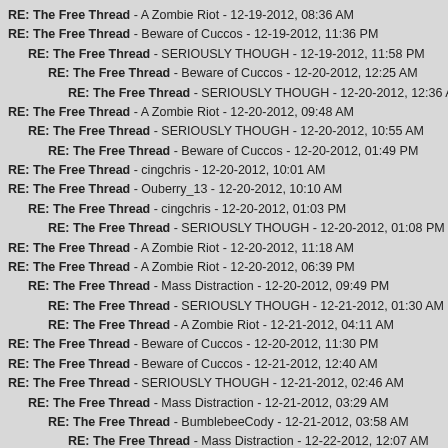RE: The Free Thread - A Zombie Riot - 12-19-2012, 08:36 AM
RE: The Free Thread - Beware of Cuccos - 12-19-2012, 11:36 PM
RE: The Free Thread - SERIOUSLY THOUGH - 12-19-2012, 11:58 PM
RE: The Free Thread - Beware of Cuccos - 12-20-2012, 12:25 AM
RE: The Free Thread - SERIOUSLY THOUGH - 12-20-2012, 12:36 AM
RE: The Free Thread - A Zombie Riot - 12-20-2012, 09:48 AM
RE: The Free Thread - SERIOUSLY THOUGH - 12-20-2012, 10:55 AM
RE: The Free Thread - Beware of Cuccos - 12-20-2012, 01:49 PM
RE: The Free Thread - cingchris - 12-20-2012, 10:01 AM
RE: The Free Thread - Ouberry_13 - 12-20-2012, 10:10 AM
RE: The Free Thread - cingchris - 12-20-2012, 01:03 PM
RE: The Free Thread - SERIOUSLY THOUGH - 12-20-2012, 01:08 PM
RE: The Free Thread - A Zombie Riot - 12-20-2012, 11:18 AM
RE: The Free Thread - A Zombie Riot - 12-20-2012, 06:39 PM
RE: The Free Thread - Mass Distraction - 12-20-2012, 09:49 PM
RE: The Free Thread - SERIOUSLY THOUGH - 12-21-2012, 01:30 AM
RE: The Free Thread - A Zombie Riot - 12-21-2012, 04:11 AM
RE: The Free Thread - Beware of Cuccos - 12-20-2012, 11:30 PM
RE: The Free Thread - Beware of Cuccos - 12-21-2012, 12:40 AM
RE: The Free Thread - SERIOUSLY THOUGH - 12-21-2012, 02:46 AM
RE: The Free Thread - Mass Distraction - 12-21-2012, 03:29 AM
RE: The Free Thread - BumblebeeCody - 12-21-2012, 03:58 AM
RE: The Free Thread - Mass Distraction - 12-22-2012, 12:07 AM
RE: The Free Thread - SERIOUSLY THOUGH - 12-22-2012, 12:34 AM
RE: The Free Thread - Ouberry_13 - 12-22-2012, 01:07 AM